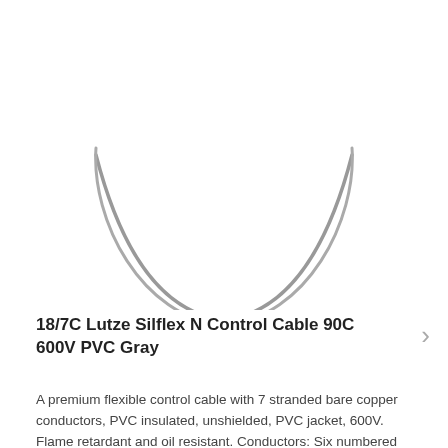[Figure (illustration): A large circular arc / coil cross-section shown from below — a gray outline of the bottom half of a circle (like a cable coiled into a loop), with only the lower arc visible against a white background.]
18/7C Lutze Silflex N Control Cable 90C 600V PVC Gray
A premium flexible control cable with 7 stranded bare copper conductors, PVC insulated, unshielded, PVC jacket, 600V. Flame retardant and oil resistant. Conductors: Six numbered black with one green/yellow ground. Outer jacket: gray.